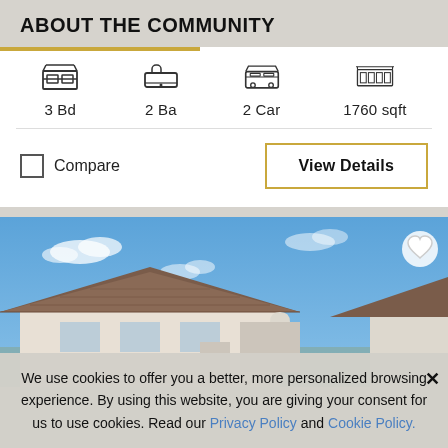ABOUT THE COMMUNITY
3 Bd  2 Ba  2 Car  1760 sqft
Compare
View Details
[Figure (photo): Exterior photo of a single-story house with tile roof against a blue sky with scattered clouds]
We use cookies to offer you a better, more personalized browsing experience. By using this website, you are giving your consent for us to use cookies. Read our Privacy Policy and Cookie Policy.